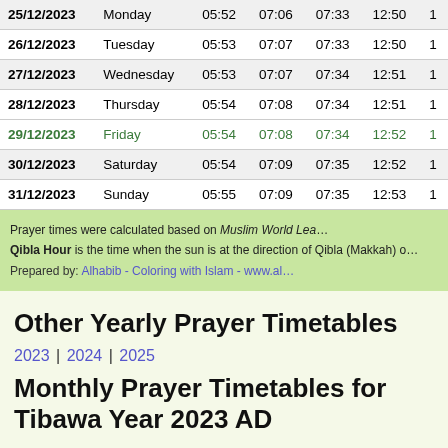| Date | Day | Col3 | Col4 | Col5 | Col6 | Col7 |
| --- | --- | --- | --- | --- | --- | --- |
| 25/12/2023 | Monday | 05:52 | 07:06 | 07:33 | 12:50 | 1 |
| 26/12/2023 | Tuesday | 05:53 | 07:07 | 07:33 | 12:50 | 1 |
| 27/12/2023 | Wednesday | 05:53 | 07:07 | 07:34 | 12:51 | 1 |
| 28/12/2023 | Thursday | 05:54 | 07:08 | 07:34 | 12:51 | 1 |
| 29/12/2023 | Friday | 05:54 | 07:08 | 07:34 | 12:52 | 1 |
| 30/12/2023 | Saturday | 05:54 | 07:09 | 07:35 | 12:52 | 1 |
| 31/12/2023 | Sunday | 05:55 | 07:09 | 07:35 | 12:53 | 1 |
Prayer times were calculated based on Muslim World Lea... Qibla Hour is the time when the sun is at the direction of Qibla (Makkah) o... Prepared by: Alhabib - Coloring with Islam - www.al...
Other Yearly Prayer Timetables
2023 | 2024 | 2025
Monthly Prayer Timetables for Tibawa Year 2023 AD